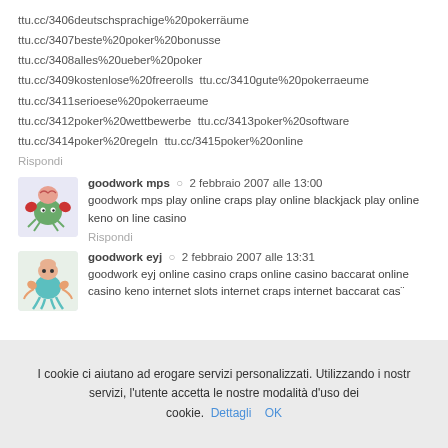ttu.cc/3406deutschsprachige%20pokerräume ttu.cc/3407beste%20poker%20bonusse ttu.cc/3408alles%20ueber%20poker ttu.cc/3409kostenlose%20freerolls ttu.cc/3410gute%20pokerraeume ttu.cc/3411serioese%20pokerraeume ttu.cc/3412poker%20wettbewerbe ttu.cc/3413poker%20software ttu.cc/3414poker%20regeln ttu.cc/3415poker%20online
Rispondi
[Figure (illustration): Avatar of goodwork mps, cartoon crab character with brain visible, on light purple background]
goodwork mps  2 febbraio 2007 alle 13:00
goodwork mps play online craps play online blackjack play online keno on line casino
Rispondi
[Figure (illustration): Avatar of goodwork eyj, cartoon crab/frog character on light background]
goodwork eyj  2 febbraio 2007 alle 13:31
goodwork eyj online casino craps online casino baccarat online casino keno internet slots internet craps internet baccarat cas¨
Rispondi
I cookie ci aiutano ad erogare servizi personalizzati. Utilizzando i nostri servizi, l'utente accetta le nostre modalità d'uso dei cookie. Dettagli OK